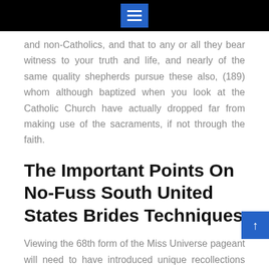☰
and non-Catholics, and that to any or all they bear witness to your truth and life, and nearly of the same quality shepherds pursue these also, (189) whom although baptized when you look at the Catholic Church have actually dropped far from making use of the sacraments, if not through the faith.
The Important Points On No-Fuss South United States Brides Techniques
Viewing the 68th form of the Miss Universe pageant will need to have introduced unique recollections and just a little nostalgia, such as 1993 the mom-of-two ended up being topped